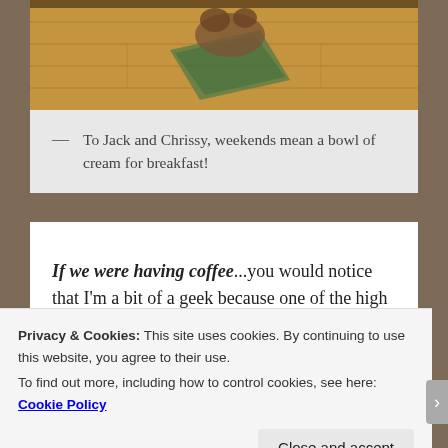[Figure (photo): A photo of cats on a wooden floor with a decorative rug, partially visible at top of page.]
— To Jack and Chrissy, weekends mean a bowl of cream for breakfast!
If we were having coffee...you would notice that I'm a bit of a geek because one of the high points of my week was the new table I got for my classroom. The cool part is that it's a dry erase table! That means the students can write on it with markers and it wipes right off. It's great for working out math problems or practicing spelling words. The kids think it's really cool too! I'm hoping it will make
Privacy & Cookies: This site uses cookies. By continuing to use this website, you agree to their use.
To find out more, including how to control cookies, see here: Cookie Policy
Close and accept